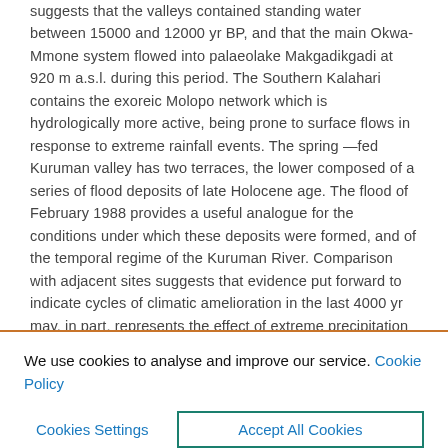suggests that the valleys contained standing water between 15000 and 12000 yr BP, and that the main Okwa-Mmone system flowed into palaeolake Makgadikgadi at 920 m a.s.l. during this period. The Southern Kalahari contains the exoreic Molopo network which is hydrologically more active, being prone to surface flows in response to extreme rainfall events. The spring—fed Kuruman valley has two terraces, the lower composed of a series of flood deposits of late Holocene age. The flood of February 1988 provides a useful analogue for the conditions under which these deposits were formed, and of the temporal regime of the Kuruman River. Comparison with adjacent sites suggests that evidence put forward to indicate cycles of climatic amelioration in the last 4000 yr may, in part, represents the effect of extreme precipitation events. Historical floods show a strong correlation to Southern Oscillation high-phase (cold event) episodes, suggesting possibilities for extension of the Southern Oscillation record through flood sedimentary...
We use cookies to analyse and improve our service. Cookie Policy
Cookies Settings
Accept All Cookies